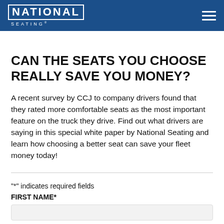NATIONAL SEATING
CAN THE SEATS YOU CHOOSE REALLY SAVE YOU MONEY?
A recent survey by CCJ to company drivers found that they rated more comfortable seats as the most important feature on the truck they drive. Find out what drivers are saying in this special white paper by National Seating and learn how choosing a better seat can save your fleet money today!
"*" indicates required fields
FIRST NAME*